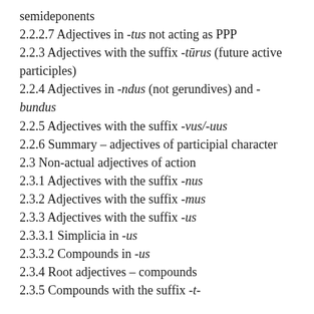semideponents
2.2.2.7 Adjectives in -tus not acting as PPP
2.2.3 Adjectives with the suffix -tūrus (future active participles)
2.2.4 Adjectives in -ndus (not gerundives) and -bundus
2.2.5 Adjectives with the suffix -vus/-uus
2.2.6 Summary – adjectives of participial character
2.3 Non-actual adjectives of action
2.3.1 Adjectives with the suffix -nus
2.3.2 Adjectives with the suffix -mus
2.3.3 Adjectives with the suffix -us
2.3.3.1 Simplicia in -us
2.3.3.2 Compounds in -us
2.3.4 Root adjectives – compounds
2.3.5 Compounds with the suffix -t-